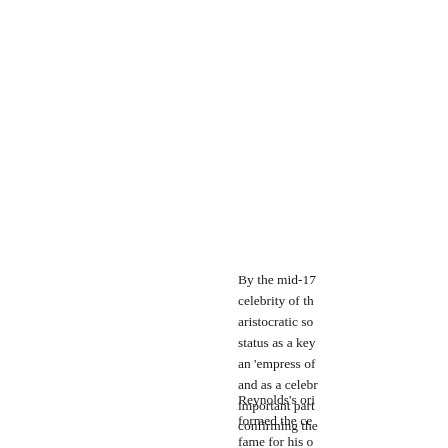By the mid-17... celebrity of the... aristocratic so... status as a key... an 'empress of... and as a celeb... important part... confirming the...
Reynolds's ori... formed the ce... fame for his o... the day. In the...